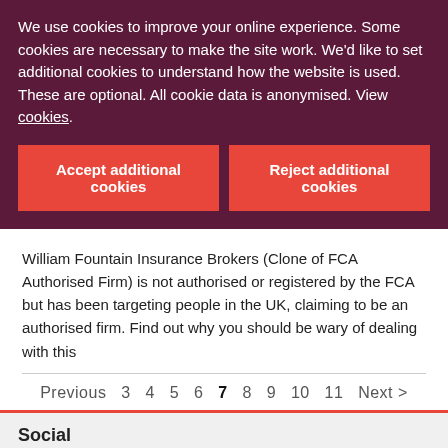We use cookies to improve your online experience. Some cookies are necessary to make the site work. We'd like to set additional cookies to understand how the website is used. These are optional. All cookie data is anonymised. View cookies.
Accept additional cookies
Reject additional cookies
William Fountain Insurance Brokers (Clone of FCA Authorised Firm) is not authorised or registered by the FCA but has been targeting people in the UK, claiming to be an authorised firm. Find out why you should be wary of dealing with this
Previous  3  4  5  6  7  8  9  10  11  Next >
Social